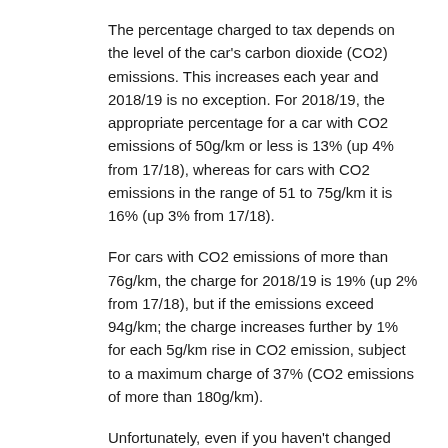The percentage charged to tax depends on the level of the car's carbon dioxide (CO2) emissions. This increases each year and 2018/19 is no exception. For 2018/19, the appropriate percentage for a car with CO2 emissions of 50g/km or less is 13% (up 4% from 17/18), whereas for cars with CO2 emissions in the range of 51 to 75g/km it is 16% (up 3% from 17/18).
For cars with CO2 emissions of more than 76g/km, the charge for 2018/19 is 19% (up 2% from 17/18), but if the emissions exceed 94g/km; the charge increases further by 1% for each 5g/km rise in CO2 emission, subject to a maximum charge of 37% (CO2 emissions of more than 180g/km).
Unfortunately, even if you haven't changed your car the new rates still apply, but when calculating the charge any capital contributions made by you, the employee (max £5,000) will reduce the list price.